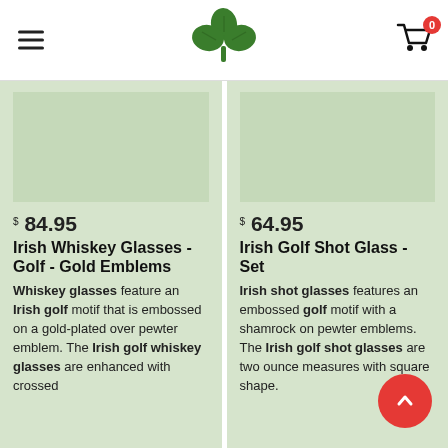[Figure (logo): Green shamrock/clover logo in the center of the header]
$ 84.95
Irish Whiskey Glasses - Golf - Gold Emblems
Whiskey glasses feature an Irish golf motif that is embossed on a gold-plated over pewter emblem. The Irish golf whiskey glasses are enhanced with crossed clubs on a round plaque. The
$ 64.95
Irish Golf Shot Glass - Set
Irish shot glasses features an embossed golf motif with a shamrock on pewter emblems. The Irish golf shot glasses are two ounce measures with square shape.